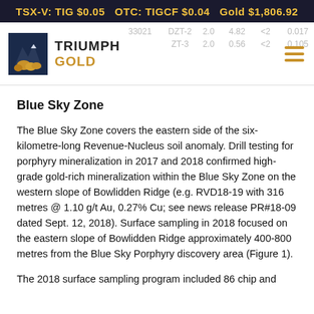TSX-V: TIG $0.05   OTC: TIGCF $0.04   Gold $1,806.92
[Figure (logo): Triumph Gold company logo with mountain/gold imagery and text TRIUMPH GOLD]
Blue Sky Zone
The Blue Sky Zone covers the eastern side of the six-kilometre-long Revenue-Nucleus soil anomaly. Drill testing for porphyry mineralization in 2017 and 2018 confirmed high-grade gold-rich mineralization within the Blue Sky Zone on the western slope of Bowlidden Ridge (e.g. RVD18-19 with 316 metres @ 1.10 g/t Au, 0.27% Cu; see news release PR#18-09 dated Sept. 12, 2018). Surface sampling in 2018 focused on the eastern slope of Bowlidden Ridge approximately 400-800 metres from the Blue Sky Porphyry discovery area (Figure 1).
The 2018 surface sampling program included 86 chip and